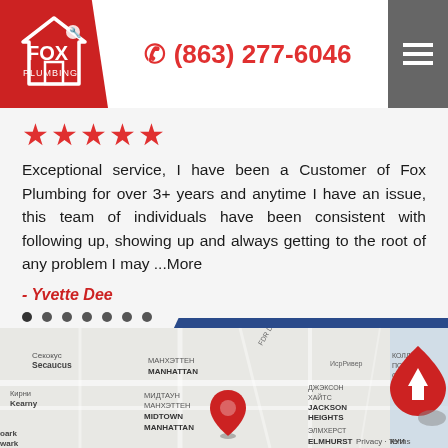[Figure (logo): Fox Plumbing logo in white on red background with house and wrench icon]
(863) 277-6046
★★★★★
Exceptional service, I have been a Customer of Fox Plumbing for over 3+ years and anytime I have an issue, this team of individuals have been consistent with following up, showing up and always getting to the root of any problem I may ...More
- Yvette Dee
[Figure (map): Google Maps screenshot showing Manhattan, Midtown Manhattan, Secaucus, Kearny, Jackson Heights, Elmhurst areas with a red location pin and a scroll-to-top button]